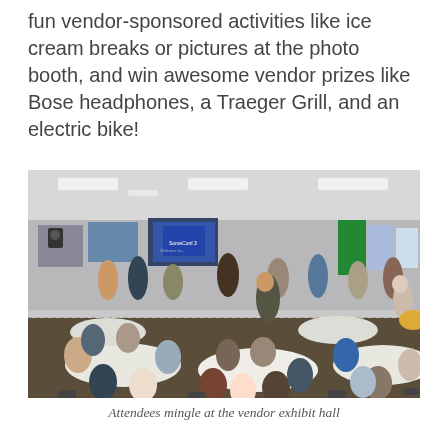fun vendor-sponsored activities like ice cream breaks or pictures at the photo booth, and win awesome vendor prizes like Bose headphones, a Traeger Grill, and an electric bike!
[Figure (photo): A large conference or exhibition hall filled with many attendees seated at round tables covered with white tablecloths, mingling and networking. Vendor booths and banners are visible in the background, including a blue screen and green banner. The room has a drop ceiling with fluorescent lights and a patterned carpet floor.]
Attendees mingle at the vendor exhibit hall